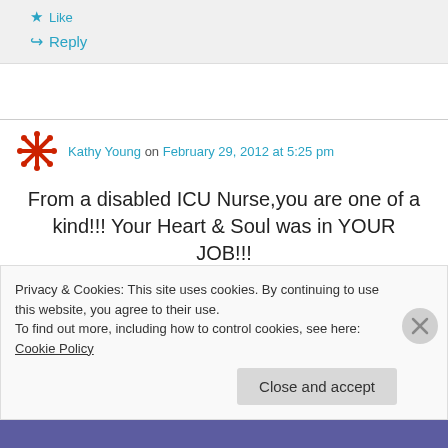★ Like
↪ Reply
Kathy Young on February 29, 2012 at 5:25 pm
From a disabled ICU Nurse,you are one of a kind!!! Your Heart & Soul was in YOUR JOB!!!
Privacy & Cookies: This site uses cookies. By continuing to use this website, you agree to their use.
To find out more, including how to control cookies, see here: Cookie Policy
Close and accept